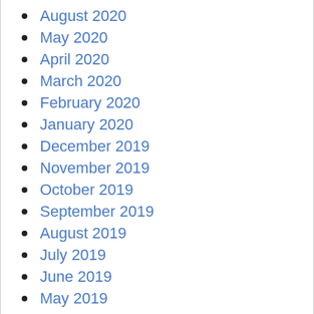August 2020
May 2020
April 2020
March 2020
February 2020
January 2020
December 2019
November 2019
October 2019
September 2019
August 2019
July 2019
June 2019
May 2019
April 2019
March 2019
February 2019
January 2019
December 2018